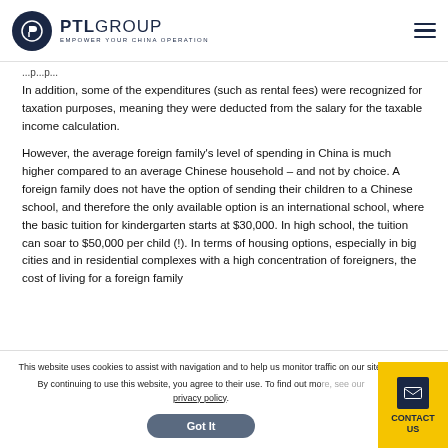PTL GROUP — EMPOWER YOUR CHINA OPERATION
In addition, some of the expenditures (such as rental fees) were recognized for taxation purposes, meaning they were deducted from the salary for the taxable income calculation.
However, the average foreign family's level of spending in China is much higher compared to an average Chinese household – and not by choice. A foreign family does not have the option of sending their children to a Chinese school, and therefore the only available option is an international school, where the basic tuition for kindergarten starts at $30,000. In high school, the tuition can soar to $50,000 per child (!). In terms of housing options, especially in big cities and in residential complexes with a high concentration of foreigners, the cost of living for a foreign family
This website uses cookies to assist with navigation and to help us monitor traffic on our site. By continuing to use this website, you agree to their use. To find out more, see our privacy policy. Got It